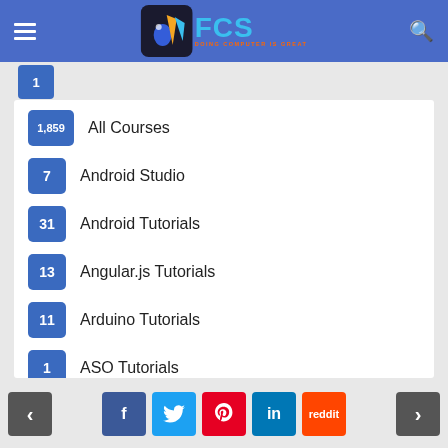FCS — Doing Computer Is Great
1,859  All Courses
7  Android Studio
31  Android Tutorials
13  Angular.js Tutorials
11  Arduino Tutorials
1  ASO Tutorials
7  ASP.NET
3  Assembly Language Tutorials
7  AutoCAD Tutorials
11  AWS
< facebook twitter pinterest linkedin reddit >